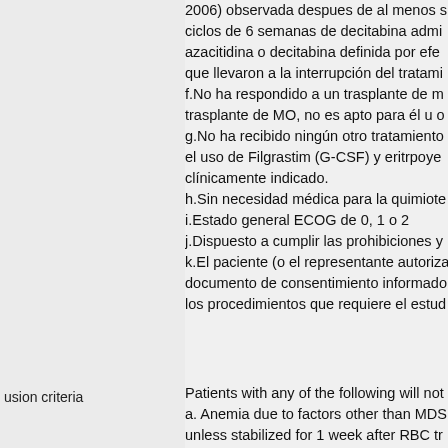2006) observada despues de al menos s ciclos de 6 semanas de decitabina admi azacitidina o decitabina definida por efe que llevaron a la interrupcion del tratami f.No ha respondido a un trasplante de m trasplante de MO, no es apto para el u o g.No ha recibido ningun otro tratamiento el uso de Filgrastim (G-CSF) y eritrpoye clinicamente indicado. h.Sin necesidad medica para la quimiote i.Estado general ECOG de 0, 1 o 2 j.Dispuesto a cumplir las prohibiciones y k.El paciente (o el representante autoriza documento de consentimiento informado los procedimientos que requiere el estud
usion criteria
Patients with any of the following will not a. Anemia due to factors other than MDS unless stabilized for 1 week after RBC tr b. Any active malignancy within the past carcinoma in situ of the cervix or breast; c. Uncontrolled intercurrent illness includ